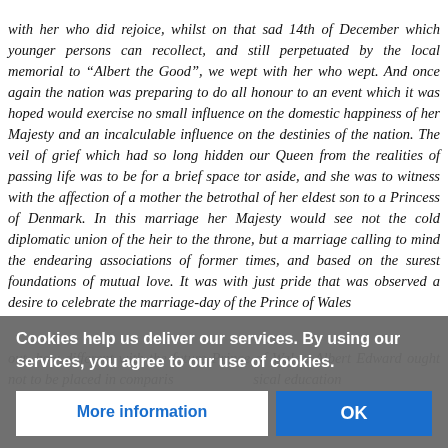with her who did rejoice, whilst on that sad 14th of December which younger persons can recollect, and still perpetuated by the local memorial to "Albert the Good", we wept with her who wept. And once again the nation was preparing to do all honour to an event which it was hoped would exercise no small influence on the domestic happiness of her Majesty and an incalculable influence on the destinies of the nation. The veil of grief which had so long hidden our Queen from the realities of passing life was to be for a brief space tor aside, and she was to witness with the affection of a mother the betrothal of her eldest son to a Princess of Denmark. In this marriage her Majesty would see not the cold diplomatic union of the heir to the throne, but a marriage calling to mind the endearing associations of former times, and based on the surest foundations of mutual love. It was with just pride that was observed a desire to celebrate the marriage-day of the Prince of Wales
...different with the future Prince of Wales. Albert Edward ought not to be placed in comparison...physical education
Cookies help us deliver our services. By using our services, you agree to our use of cookies.
More information
OK